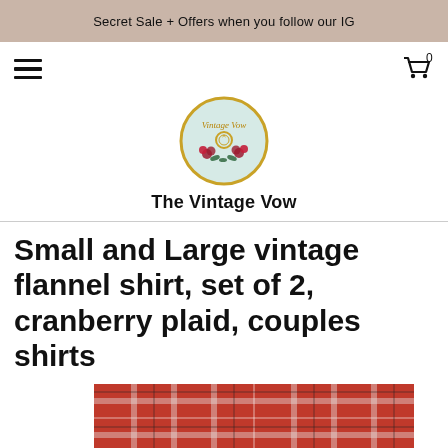Secret Sale + Offers when you follow our IG
[Figure (logo): Circular logo for The Vintage Vow with floral and ring decoration on light blue-green background with gold ring border]
The Vintage Vow
Small and Large vintage flannel shirt, set of 2, cranberry plaid, couples shirts
[Figure (photo): Partial view of red cranberry plaid flannel shirt fabric at bottom of page]